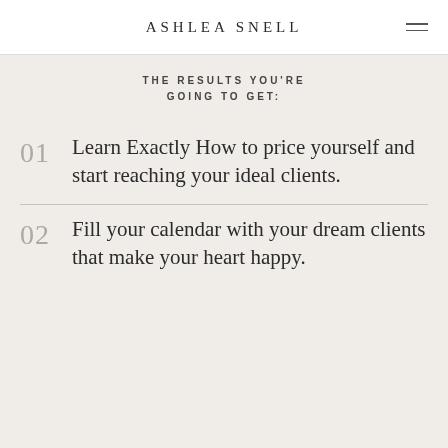ASHLEA SNELL
THE RESULTS YOU'RE GOING TO GET:
Learn Exactly How to price yourself and start reaching your ideal clients.
Fill your calendar with your dream clients that make your heart happy.